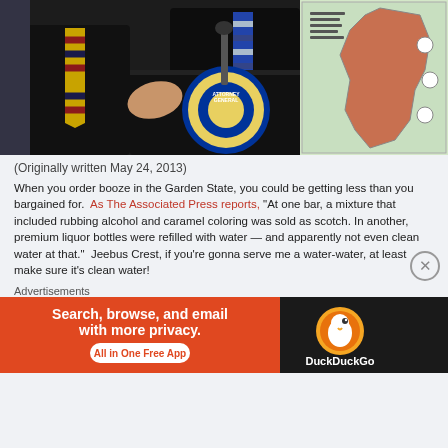[Figure (photo): Two men in dark suits at a podium with an Attorney General seal. A map board is visible on the right.]
(Originally written May 24, 2013)
When you order booze in the Garden State, you could be getting less than you bargained for.  As The Associated Press reports, "At one bar, a mixture that included rubbing alcohol and caramel coloring was sold as scotch. In another, premium liquor bottles were refilled with water — and apparently not even clean water at that."  Jeebus Crest, if you're gonna serve me a water-water, at least make sure it's clean water!
Advertisements
[Figure (screenshot): DuckDuckGo advertisement banner: 'Search, browse, and email with more privacy. All in One Free App' with DuckDuckGo logo on orange/dark background.]